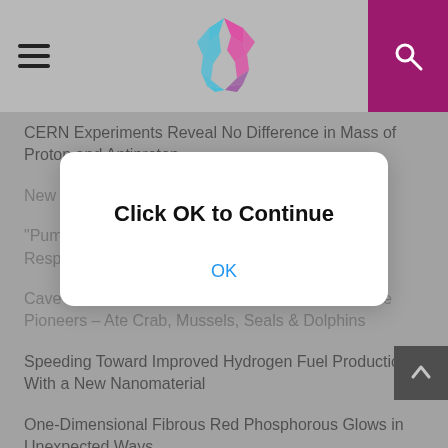Cosmos – science news website header with hamburger menu, logo, and search button
CERN Experiments Reveal No Difference in Mass of Proton and Antiproton
New Technique Hikes Printed-Cell Survival Rate
"Pump-Probe" Technique Explains How Molecules Respond to Light
Cave Excavation Shows Neanderthals Were Marine Pioneers – Ate Crab, Mussels, Seals & Dolphins
[Figure (screenshot): Modal dialog box with text 'Click OK to Continue' and an 'OK' button]
Speeding Toward Improved Hydrogen Fuel Production With a New Nanomaterial
One-Dimensional Fibrous Red Phosphorous Glows in Unexpected Ways
Discovery of Vital Role for the Brain's Immune Cells Reveals a New